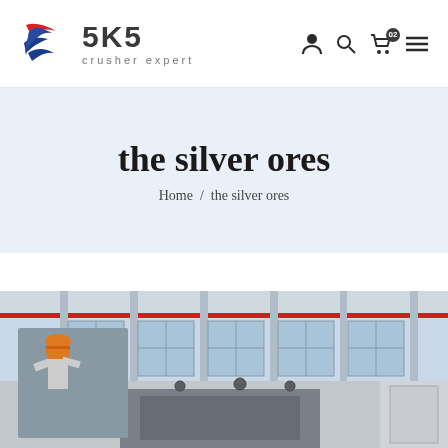[Figure (logo): SKS crusher expert logo with stylized S swoosh in red and blue, company name SKS in bold dark text, tagline 'crusher expert' below]
SKS crusher expert — navigation icons: user, search, cart (02), menu
the silver ores
Home / the silver ores
[Figure (photo): Industrial factory interior with large windows and high ceiling, with an inset image of a worker in orange hard hat operating heavy machinery]